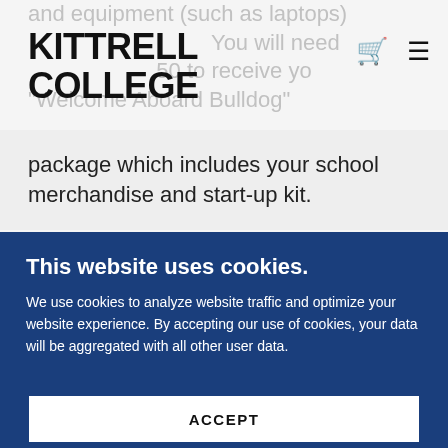KITTRELL COLLEGE
and equipment (such as laptops) You will need $50 to receive your "Welcome Aboard Bulldog" package which includes your school merchandise and start-up kit.
This website uses cookies.
We use cookies to analyze website traffic and optimize your website experience. By accepting our use of cookies, your data will be aggregated with all other user data.
ACCEPT